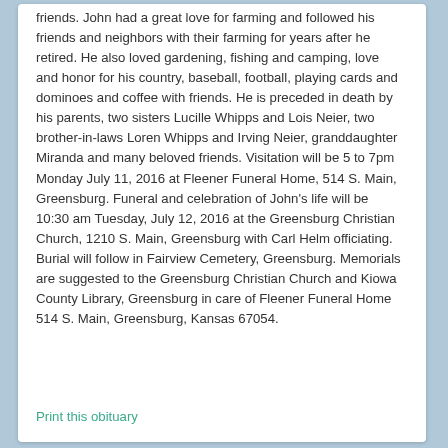friends. John had a great love for farming and followed his friends and neighbors with their farming for years after he retired. He also loved gardening, fishing and camping, love and honor for his country, baseball, football, playing cards and dominoes and coffee with friends. He is preceded in death by his parents, two sisters Lucille Whipps and Lois Neier, two brother-in-laws Loren Whipps and Irving Neier, granddaughter Miranda and many beloved friends. Visitation will be 5 to 7pm Monday July 11, 2016 at Fleener Funeral Home, 514 S. Main, Greensburg. Funeral and celebration of John's life will be 10:30 am Tuesday, July 12, 2016 at the Greensburg Christian Church, 1210 S. Main, Greensburg with Carl Helm officiating. Burial will follow in Fairview Cemetery, Greensburg. Memorials are suggested to the Greensburg Christian Church and Kiowa County Library, Greensburg in care of Fleener Funeral Home 514 S. Main, Greensburg, Kansas 67054.
Print this obituary